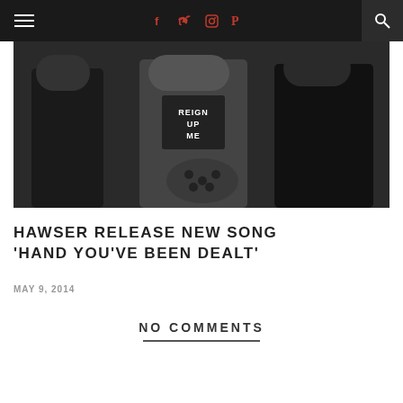Navigation bar with hamburger menu, social icons (Facebook, Twitter, Instagram, Pinterest), and search icon
[Figure (photo): Black and white photo of people standing, one wearing a shirt that says 'REIGN UP ME']
HAWSER RELEASE NEW SONG ‘HAND YOU’VE BEEN DEALT’
MAY 9, 2014
NO COMMENTS